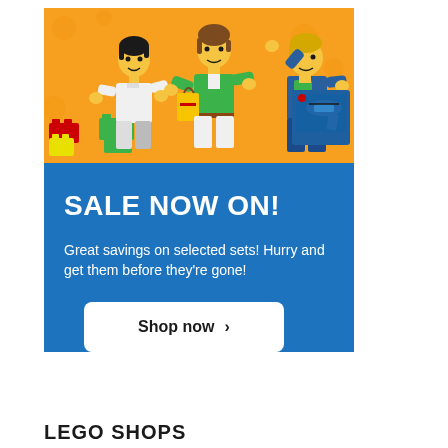[Figure (illustration): LEGO minifigures on an orange background - three figures: one in white with black hair, one in green jacket with brown hair, one in blue/green outfit with blonde hair, with LEGO bricks and shopping bags]
SALE NOW ON!
Great savings on selected sets! Hurry and get them before they're gone!
Shop now >
LEGO SHOPS